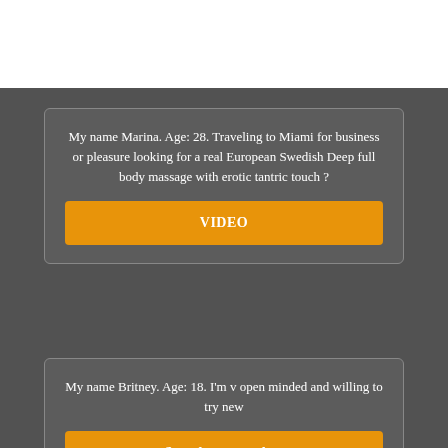My name Marina. Age: 28. Traveling to Miami for business or pleasure looking for a real European Swedish Deep full body massage with erotic tantric touch ?
VIDEO
My name Britney. Age: 18. I'm v open minded and willing to try new
See phone number